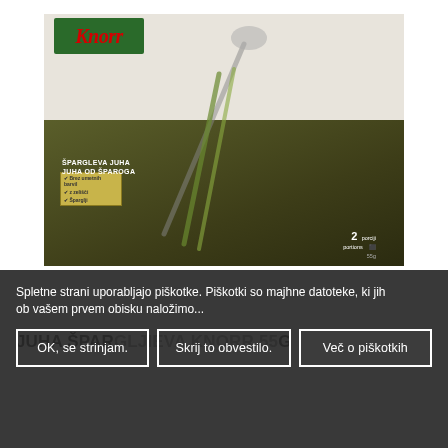[Figure (photo): Product photo of Knorr Špargleva Juha (asparagus soup) packet against a light background. The package shows the Knorr logo in red italic on a green flag, a cream/beige top section, and a dark olive-green bottom with asparagus imagery and text 'ŠPARGLEVA JUHA / JUHA OD ŠPAROGA'. Bottom of pack shows '2 servings'.]
Spletne strani uporabljajo piškotke. Piškotki so majhne datoteke, ki jih ob vašem prvem obisku naložimo...
JUHA ŠPARGLJIEVA KNORR 55g
OK, se strinjam.
Skrij to obvestilo.
Več o piškotkih